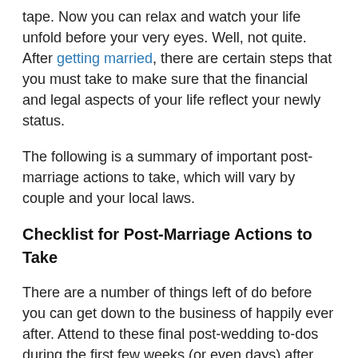tape. Now you can relax and watch your life unfold before your very eyes. Well, not quite. After getting married, there are certain steps that you must take to make sure that the financial and legal aspects of your life reflect your newly status.
The following is a summary of important post-marriage actions to take, which will vary by couple and your local laws.
Checklist for Post-Marriage Actions to Take
There are a number of things left of do before you can get down to the business of happily ever after. Attend to these final post-wedding to-dos during the first few weeks (or even days) after your wedding, and you can enjoy the memories of your special day for decades to come.